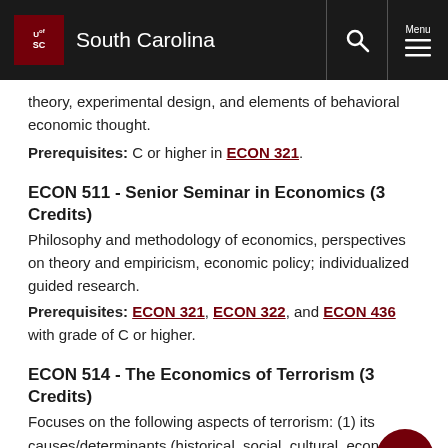University of South Carolina
theory, experimental design, and elements of behavioral economic thought.
Prerequisites: C or higher in ECON 321.
ECON 511  - Senior Seminar in Economics  (3 Credits)
Philosophy and methodology of economics, perspectives on theory and empiricism, economic policy; individualized guided research.
Prerequisites: ECON 321, ECON 322, and ECON 436 with grade of C or higher.
ECON 514  - The Economics of Terrorism  (3 Credits)
Focuses on the following aspects of terrorism: (1) its causes/determinants (historical, social, cultural, economic,